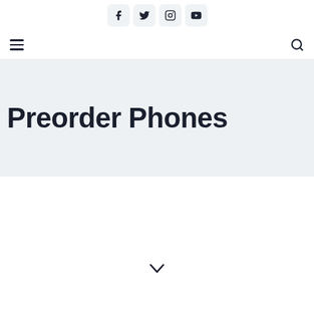Social media icons: Facebook, Twitter, Instagram, YouTube
[Figure (screenshot): Navigation bar with hamburger menu icon on the left and search icon on the right]
Preorder Phones
[Figure (other): Chevron down arrow at the bottom of the page]